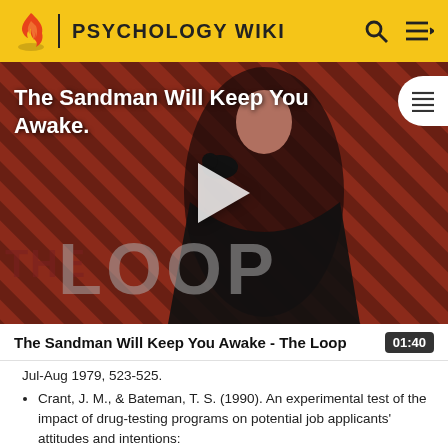PSYCHOLOGY WIKI
[Figure (screenshot): Video thumbnail for 'The Sandman Will Keep You Awake - The Loop' showing a dark figure in a black cape against a red and black diagonal striped background with 'THE LOOP' text overlay and a play button.]
The Sandman Will Keep You Awake - The Loop
01:40
Jul-Aug 1979, 523-525.
Crant, J. M., & Bateman, T. S. (1990). An experimental test of the impact of drug-testing programs on potential job applicants' attitudes and intentions: